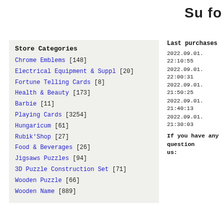Su fo
Store Categories
Chrome Emblems [148]
Electrical Equipment & Suppl [20]
Fortune Telling Cards [8]
Health & Beauty [173]
Barbie [11]
Playing Cards [3254]
Hungaricum [61]
Rubik'Shop [27]
Food & Beverages [26]
Jigsaws Puzzles [94]
3D Puzzle Construction Set [71]
Wooden Puzzle [66]
Wooden Name [889]
Last purchases
2022.09.01. 22:10:55
2022.09.01. 22:00:31
2022.09.01. 21:50:25
2022.09.01. 21:40:13
2022.09.01. 21:30:03
If you have any question us: